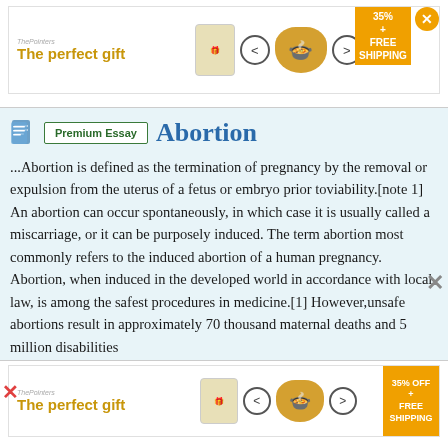[Figure (other): Top advertisement banner: 'The perfect gift' in gold text with decorative bowl image, navigation arrows, 35% FREE SHIPPING badge, and close button]
Premium Essay   Abortion
...Abortion is defined as the termination of pregnancy by the removal or expulsion from the uterus of a fetus or embryo prior toviability.[note 1] An abortion can occur spontaneously, in which case it is usually called a miscarriage, or it can be purposely induced. The term abortion most commonly refers to the induced abortion of a human pregnancy. Abortion, when induced in the developed world in accordance with local law, is among the safest procedures in medicine.[1] However,unsafe abortions result in approximately 70 thousand maternal deaths and 5 million disabilities
[Figure (other): Bottom advertisement banner: 'The perfect gift' in gold text with decorative bowl image, navigation arrows, 35% OFF FREE SHIPPING badge]